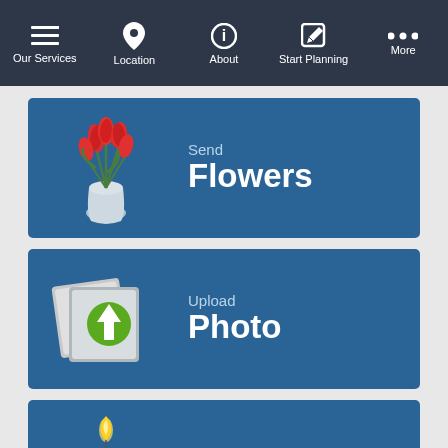Our Services | Location | About | Start Planning | More
[Figure (screenshot): Blue card with flower bouquet icon, text 'Send Flowers']
[Figure (screenshot): Blue card with photo upload icon, text 'Upload Photo']
[Figure (screenshot): Blue card with candle icon, text 'Leave a memory Light a Candle']